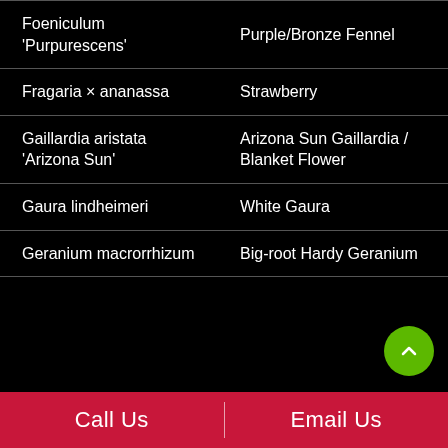| Scientific Name | Common Name |
| --- | --- |
| Foeniculum 'Purpurescens' | Purple/Bronze Fennel |
| Fragaria × ananassa | Strawberry |
| Gaillardia aristata 'Arizona Sun' | Arizona Sun Gaillardia / Blanket Flower |
| Gaura lindheimeri | White Gaura |
| Geranium macrorrhizum | Big-root Hardy Geranium |
Call Us | Email Us